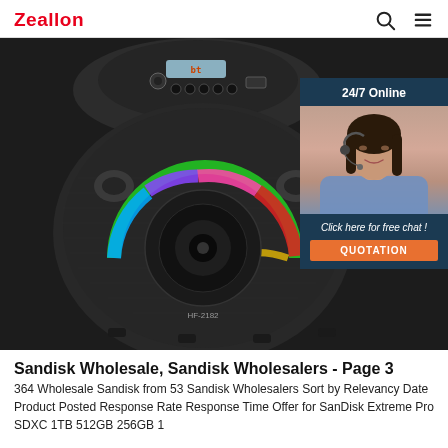Zeallon
[Figure (photo): A black Bluetooth speaker (model HF-2182) with RGB LED ring light in rainbow colors, viewed from the front-top angle. Controls and USB port visible on top. A customer service chat widget is overlaid on the right side showing '24/7 Online', a woman with a headset, 'Click here for free chat!' text, and an orange QUOTATION button.]
Sandisk Wholesale, Sandisk Wholesalers - Page 3
364 Wholesale Sandisk from 53 Sandisk Wholesalers Sort by Relevancy Date Product Posted Response Rate Response Time Offer for SanDisk Extreme Pro SDXC 1TB 512GB 256GB 1